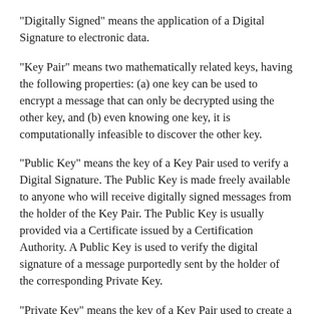"Digitally Signed" means the application of a Digital Signature to electronic data.
"Key Pair" means two mathematically related keys, having the following properties: (a) one key can be used to encrypt a message that can only be decrypted using the other key, and (b) even knowing one key, it is computationally infeasible to discover the other key.
"Public Key" means the key of a Key Pair used to verify a Digital Signature. The Public Key is made freely available to anyone who will receive digitally signed messages from the holder of the Key Pair. The Public Key is usually provided via a Certificate issued by a Certification Authority. A Public Key is used to verify the digital signature of a message purportedly sent by the holder of the corresponding Private Key.
"Private Key" means the key of a Key Pair used to create a Digital Signature. This key must be kept private.